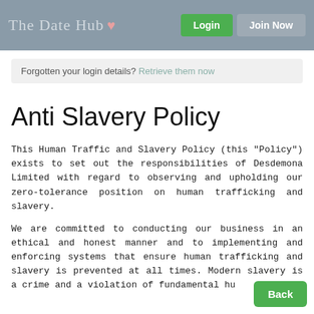The Date Hub  Login  Join Now
Forgotten your login details? Retrieve them now
Anti Slavery Policy
This Human Traffic and Slavery Policy (this "Policy") exists to set out the responsibilities of Desdemona Limited with regard to observing and upholding our zero-tolerance position on human trafficking and slavery.
We are committed to conducting our business in an ethical and honest manner and to implementing and enforcing systems that ensure human trafficking and slavery is prevented at all times. Modern slavery is a crime and a violation of fundamental hu rights. We are committed to its eradication.